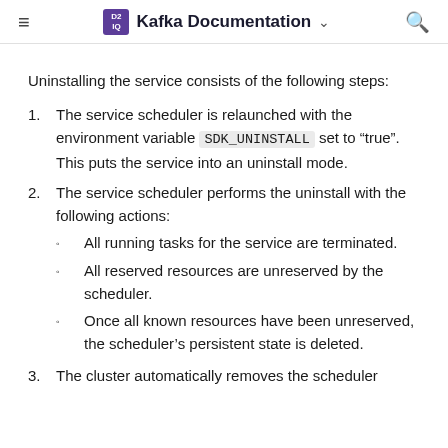Kafka Documentation
Uninstalling the service consists of the following steps:
The service scheduler is relaunched with the environment variable SDK_UNINSTALL set to “true”. This puts the service into an uninstall mode.
The service scheduler performs the uninstall with the following actions:
All running tasks for the service are terminated.
All reserved resources are unreserved by the scheduler.
Once all known resources have been unreserved, the scheduler’s persistent state is deleted.
The cluster automatically removes the scheduler